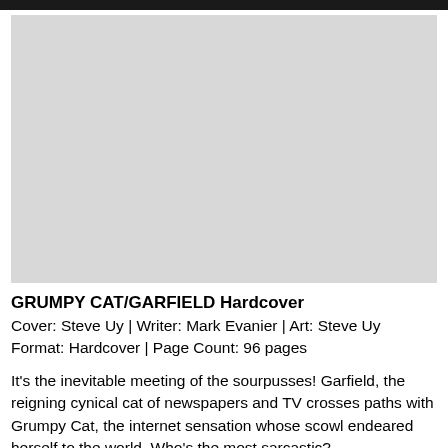[Figure (illustration): Gray placeholder image representing a book cover image for Grumpy Cat/Garfield Hardcover]
GRUMPY CAT/GARFIELD Hardcover
Cover: Steve Uy | Writer: Mark Evanier | Art: Steve Uy
Format: Hardcover | Page Count: 96 pages
It's the inevitable meeting of the sourpusses! Garfield, the reigning cynical cat of newspapers and TV crosses paths with Grumpy Cat, the internet sensation whose scowl endeared herself to the world. Who's the most sarcastic?